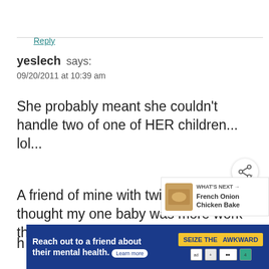Reply
yeslech says:
09/20/2011 at 10:39 am
She probably meant she couldn't handle two of one of HER children... lol...
[Figure (other): Share button overlay (circular share icon)]
[Figure (other): What's Next overlay with food image thumbnail and text: French Onion Chicken Bake]
A friend of mine with twin babies s... thought my one baby was more work than
[Figure (other): Advertisement banner: Reach out to a friend about their mental health. Learn more. SEIZE THE AWKWARD.]